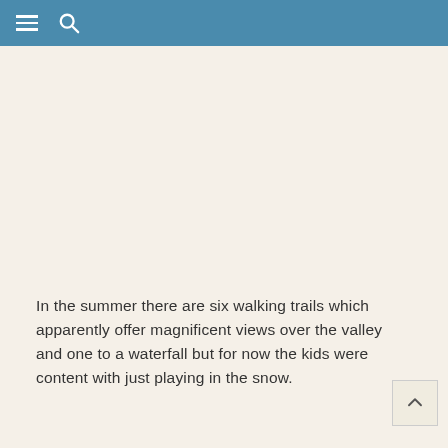☰  🔍
In the summer there are six walking trails which apparently offer magnificent views over the valley and one to a waterfall but for now the kids were content with just playing in the snow.